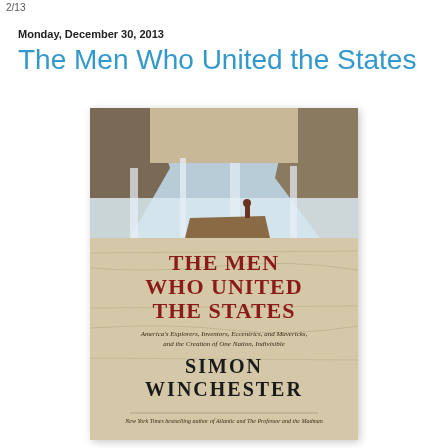2/13
Monday, December 30, 2013
The Men Who United the States
[Figure (illustration): Book cover of 'The Men Who United the States' by Simon Winchester. Top half shows a landscape photo of a canyon with waterfalls and a lone figure standing on a rocky ledge. Bottom half shows the book title in large serif red text on a tan/map background, subtitle in italic text reading "America's Explorers, Inventors, Eccentrics, and Mavericks, and the Creation of One Nation, Indivisible", author name SIMON WINCHESTER in large black serif text, and tagline at bottom reading "New York Times bestselling author of Atlantic and The Professor and the Madman".]